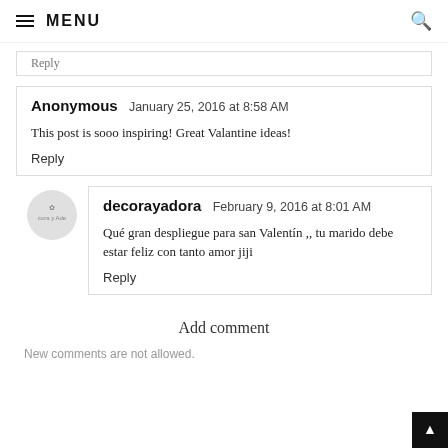≡ MENU
Reply
Anonymous  January 25, 2016 at 8:58 AM
This post is sooo inspiring! Great Valantine ideas!
Reply
decorayadora  February 9, 2016 at 8:01 AM
Qué gran despliegue para san Valentín ,, tu marido debe estar feliz con tanto amor jiji
Reply
Add comment
New comments are not allowed.